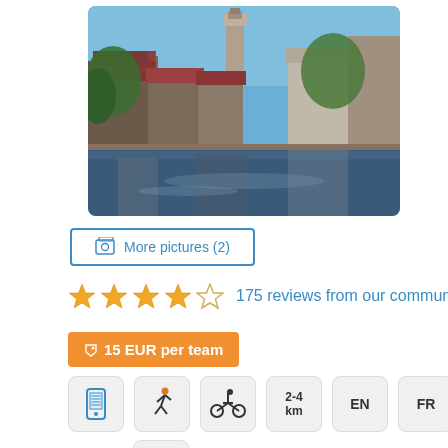[Figure (photo): Scenic canal view of Bruges, Belgium with historic brick buildings, red-tiled roofs, a tall belfry tower, and trees reflected in the calm water]
More pictures (2)
175 reviews from our community
15 EUR per team
[Figure (infographic): Row of icon badges: mobile phone icon, walking person icon, cycling person icon, 2-4 km distance badge, EN language badge, FR language badge, and NL language badge below]